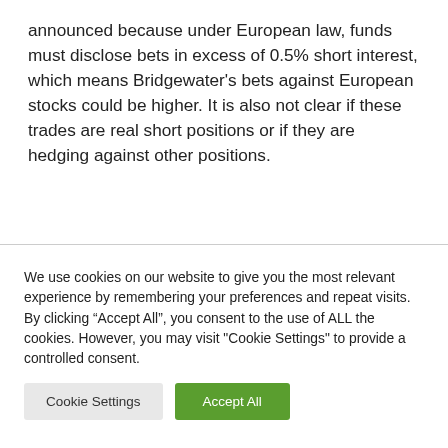announced because under European law, funds must disclose bets in excess of 0.5% short interest, which means Bridgewater's bets against European stocks could be higher. It is also not clear if these trades are real short positions or if they are hedging against other positions.
We use cookies on our website to give you the most relevant experience by remembering your preferences and repeat visits. By clicking “Accept All”, you consent to the use of ALL the cookies. However, you may visit "Cookie Settings" to provide a controlled consent.